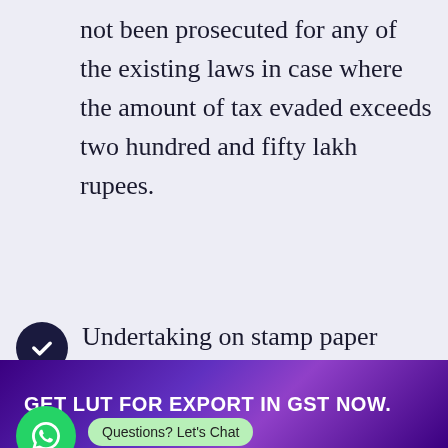not been prosecuted for any of the existing laws in case where the amount of tax evaded exceeds two hundred and fifty lakh rupees.
Undertaking on stamp paper wherein the assessee declare that they have not been prosecuted for any of the existing laws in case where the amount of tax evaded exceeds two
Questions? Let's Chat
GET LUT FOR EXPORT IN GST NOW.